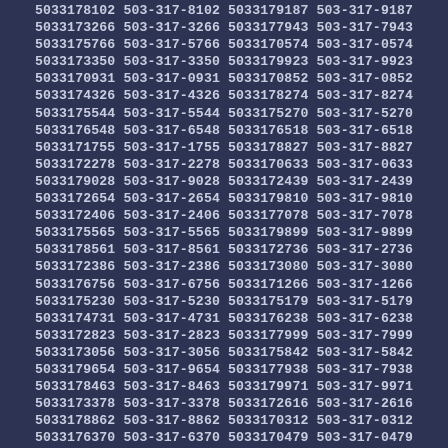5033178102 503-317-8102 5033179187 503-317-9187
5033173266 503-317-3266 5033177943 503-317-7943
5033175766 503-317-5766 5033170574 503-317-0574
5033173350 503-317-3350 5033179923 503-317-9923
5033170931 503-317-0931 5033170852 503-317-0852
5033174326 503-317-4326 5033178274 503-317-8274
5033175544 503-317-5544 5033175270 503-317-5270
5033176548 503-317-6548 5033176518 503-317-6518
5033171755 503-317-1755 5033178827 503-317-8827
5033172278 503-317-2278 5033170633 503-317-0633
5033179028 503-317-9028 5033172439 503-317-2439
5033172654 503-317-2654 5033179810 503-317-9810
5033172406 503-317-2406 5033177078 503-317-7078
5033175565 503-317-5565 5033179899 503-317-9899
5033178561 503-317-8561 5033172736 503-317-2736
5033172386 503-317-2386 5033173080 503-317-3080
5033176756 503-317-6756 5033171266 503-317-1266
5033175230 503-317-5230 5033175179 503-317-5179
5033174731 503-317-4731 5033176238 503-317-6238
5033172823 503-317-2823 5033177999 503-317-7999
5033173056 503-317-3056 5033175842 503-317-5842
5033179654 503-317-9654 5033177938 503-317-7938
5033178463 503-317-8463 5033179971 503-317-9971
5033173378 503-317-3378 5033172616 503-317-2616
5033178862 503-317-8862 5033170312 503-317-0312
5033176370 503-317-6370 5033170479 503-317-0479
5033171676 503-317-1676 5033179696 503-317-9696
5033177347 503-317-7347 5033173145 503-317-3145
5033178952 503-317-8952 5033179504 503-317-9504